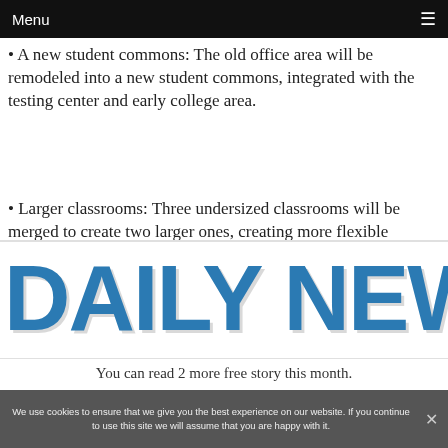Menu ☰
• A new student commons: The old office area will be remodeled into a new student commons, integrated with the testing center and early college area.
• Larger classrooms: Three undersized classrooms will be merged to create two larger ones, creating more flexible
[Figure (logo): DAILY NEWS logo in large bold blue serif text]
You can read 2 more free story this month.
Do the right thing, and support your local newspaper.
We use cookies to ensure that we give you the best experience on our website. If you continue to use this site we will assume that you are happy with it.